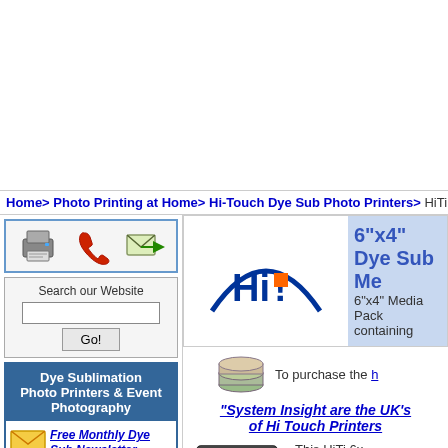[Figure (other): Top advertisement banner area (white/blank)]
Home> Photo Printing at Home> Hi-Touch Dye Sub Photo Printers> HiTi 6 "x4" Media Pack fo
[Figure (other): Left sidebar icon bar with printer, phone, and email/forward icons]
Search our Website
Dye Sublimation Photo Printers & Event Photography
Free Monthly Dye Sub Newsletter
Pricing / Rental
On-Line Dye Sub Shop
Photo Printer Rental
[Figure (logo): HiTi brand logo - blue arc with HiTi text and orange square]
6"x4" Dye Sub Me
6"x4" Media Pack containing
[Figure (other): Stack of coins/money icon]
To purchase the h
"System Insight are the UK's of Hi Touch Printers
[Figure (photo): HiTi 6x4 media pack product photo]
This HiTi 6x Quality 6"x4
Both items ribbon rema